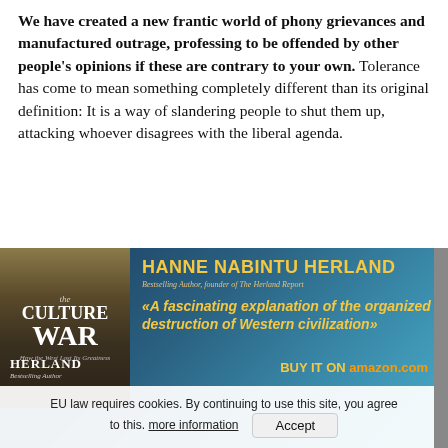We have created a new frantic world of phony grievances and manufactured outrage, professing to be offended by other people's opinions if these are contrary to your own. Tolerance has come to mean something completely different than its original definition: It is a way of slandering people to shut them up, attacking whoever disagrees with the liberal agenda.
[Figure (screenshot): Advertisement banner for book 'Culture War' by Hanne Nabintu Herland with cookie consent bar overlay. The ad shows the book cover on the left, author name and a quote on the right, and a 'Buy it on amazon.com' footer. A cookie consent bar overlays the bottom portion.]